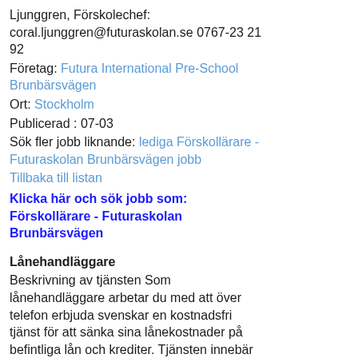Ljunggren, Förskolechef: coral.ljunggren@futuraskolan.se 0767-23 21 92
Företag: Futura International Pre-School Brunbärsvägen
Ort: Stockholm
Publicerad : 07-03
Sök fler jobb liknande: lediga Förskollärare - Futuraskolan Brunbärsvägen jobb
Tillbaka till listan
Klicka här och sök jobb som: Förskollärare - Futuraskolan Brunbärsvägen
Lånehandläggare
Beskrivning av tjänsten Som lånehandläggare arbetar du med att över telefon erbjuda svenskar en kostnadsfri tjänst för att sänka sina lånekostnader på befintliga lån och krediter. Tjänsten innebär att du talar med privatpersoner med höga/stora lånekostnader, analyserar deras lånesituation och övertygar dem om nyttan med personlig lånerådgivning för att sänka sina lånekostnader. Du kommer arbeta i ett